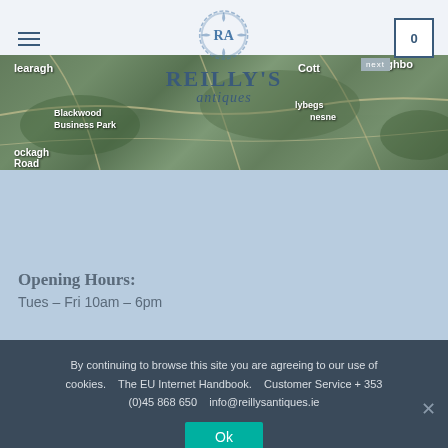[Figure (screenshot): Reilly's Antiques website header with logo (RA initials in circle, REILLYS antiques text), hamburger menu icon, cart icon showing 0, and a satellite map image in the background showing green countryside with roads and location labels including 'learagh', 'Blackwood Business Park', 'ockagh Road', 'Cott', 'Loughbo', 'lybegs', 'nesne']
Opening Hours:
Tues – Fri 10am – 6pm
By continuing to browse this site you are agreeing to our use of cookies.    The EU Internet Handbook.    Customer Service + 353 (0)45 868 650     info@reillysantiques.ie